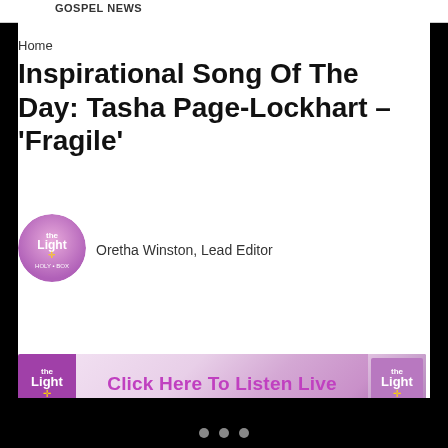GOSPEL NEWS
Home
Inspirational Song Of The Day: Tasha Page-Lockhart – 'Fragile'
Oretha Winston, Lead Editor
[Figure (logo): The Light radio station circular logo with pink/purple gradient]
[Figure (infographic): Banner advertisement: The Light radio station logo on left, 'Click Here To Listen Live' text in center in bold purple, The Light logo on right, with pink/purple gradient background]
[Figure (other): White card strip at bottom of content area]